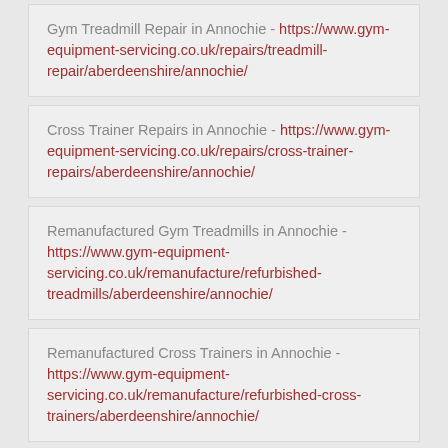Gym Treadmill Repair in Annochie - https://www.gym-equipment-servicing.co.uk/repairs/treadmill-repair/aberdeenshire/annochie/
Cross Trainer Repairs in Annochie - https://www.gym-equipment-servicing.co.uk/repairs/cross-trainer-repairs/aberdeenshire/annochie/
Remanufactured Gym Treadmills in Annochie - https://www.gym-equipment-servicing.co.uk/remanufacture/refurbished-treadmills/aberdeenshire/annochie/
Remanufactured Cross Trainers in Annochie - https://www.gym-equipment-servicing.co.uk/remanufacture/refurbished-cross-trainers/aberdeenshire/annochie/
Home Gym Equipment in Annochie - https://www.gym-equipment-servicing.co.uk/usage/home-gym-